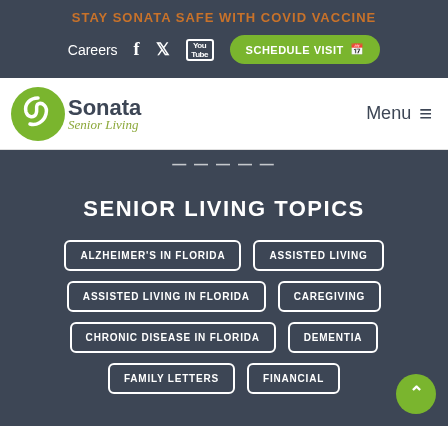STAY SONATA SAFE WITH COVID VACCINE
Careers  |  Facebook  |  Twitter  |  YouTube  |  SCHEDULE VISIT
[Figure (logo): Sonata Senior Living logo with green swirl icon and italic tagline]
Menu ≡
SENIOR LIVING TOPICS
ALZHEIMER'S IN FLORIDA
ASSISTED LIVING
ASSISTED LIVING IN FLORIDA
CAREGIVING
CHRONIC DISEASE IN FLORIDA
DEMENTIA
FAMILY LETTERS
FINANCIAL